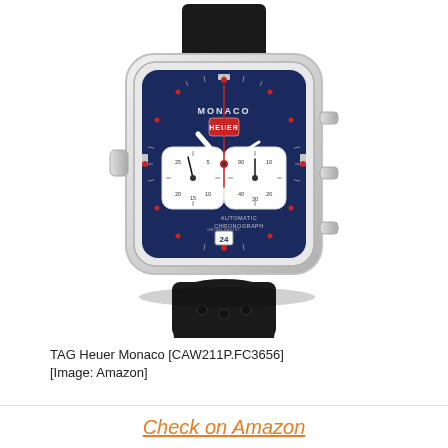[Figure (photo): TAG Heuer Monaco CAW211P.FC3656 watch with blue square dial, two chronograph sub-dials, red accents, silver case, and black leather strap with perforations.]
TAG Heuer Monaco [CAW211P.FC3656] [Image: Amazon]
Check on Amazon